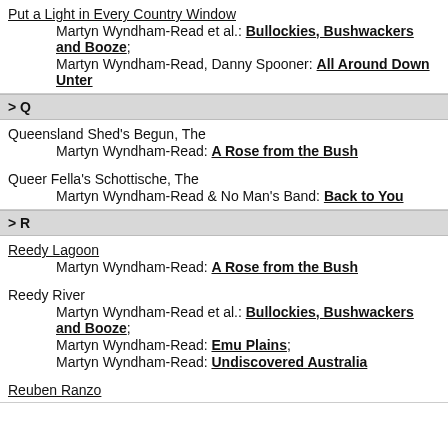Put a Light in Every Country Window
  Martyn Wyndham-Read et al.: Bullockies, Bushwackers and Booze;
  Martyn Wyndham-Read, Danny Spooner: All Around Down Unter
> Q
Queensland Shed's Begun, The
  Martyn Wyndham-Read: A Rose from the Bush
Queer Fella's Schottische, The
  Martyn Wyndham-Read & No Man's Band: Back to You
> R
Reedy Lagoon
  Martyn Wyndham-Read: A Rose from the Bush
Reedy River
  Martyn Wyndham-Read et al.: Bullockies, Bushwackers and Booze;
  Martyn Wyndham-Read: Emu Plains;
  Martyn Wyndham-Read: Undiscovered Australia
Reuben Ranzo